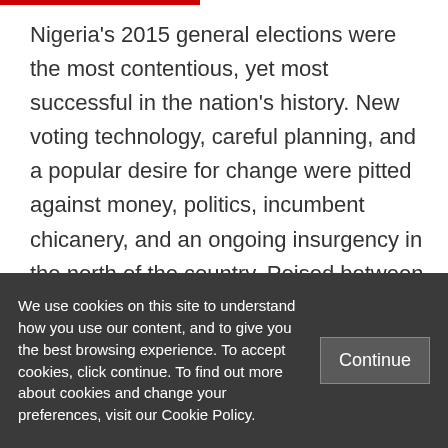Nigeria's 2015 general elections were the most contentious, yet most successful in the nation's history. New voting technology, careful planning, and a popular desire for change were pitted against money, politics, incumbent chicanery, and an ongoing insurgency in the north of the country. Poised between new beginnings and political chaos, the elections proved to be a litmus test for
We use cookies on this site to understand how you use our content, and to give you the best browsing experience. To accept cookies, click continue. To find out more about cookies and change your preferences, visit our Cookie Policy.